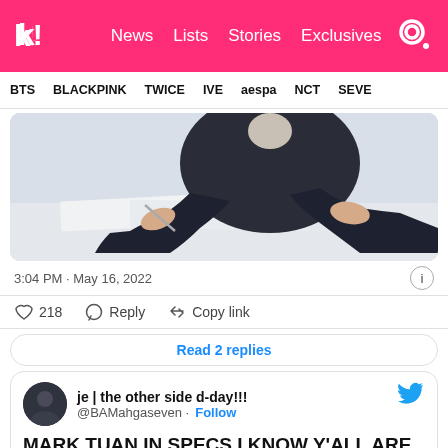k! News  Lists  Stories  Exclusives
BTS  BLACKPINK  TWICE  IVE  aespa  NCT  SEVE
[Figure (photo): Person in dark blazer writing/drawing at a desk with papers and a pen]
3:04 PM · May 16, 2022
218  Reply  Copy link
Read 2 replies
je | the other side d-day!!!
@BAMahgaseven · Follow
MARK TUAN IN SPECS I KNOW Y'ALL ARE NOT READY FOR THIS 🥺🤧😭😭